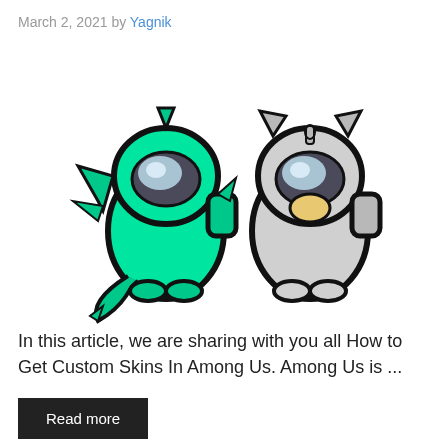March 2, 2021 by Yagnik
[Figure (illustration): Two Among Us game character skins side by side: left character is mint/teal green with a dragon/dinosaur costume (green wings, tail, and horn), right character is gray/white with a unicorn costume (gray ears, horn, and beak/tooth).]
In this article, we are sharing with you all How to Get Custom Skins In Among Us. Among Us is ...
Read more